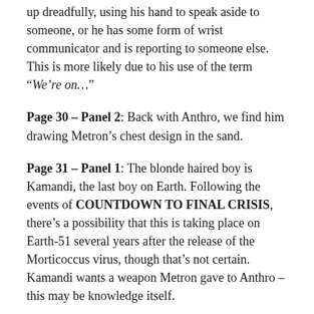up dreadfully, using his hand to speak aside to someone, or he has some form of wrist communicator and is reporting to someone else. This is more likely due to his use of the term “We’re on…”
Page 30 – Panel 2: Back with Anthro, we find him drawing Metron’s chest design in the sand.
Page 31 – Panel 1: The blonde haired boy is Kamandi, the last boy on Earth. Following the events of COUNTDOWN TO FINAL CRISIS, there’s a possibility that this is taking place on Earth-51 several years after the release of the Morticoccus virus, though that’s not certain. Kamandi wants a weapon Metron gave to Anthro – this may be knowledge itself.
Page 31 – Panel 4: Metron’s costume design now appears on Anthro’s face. Douglas Wolk over at the Final Crisis Annotations blog has a theory about what that may